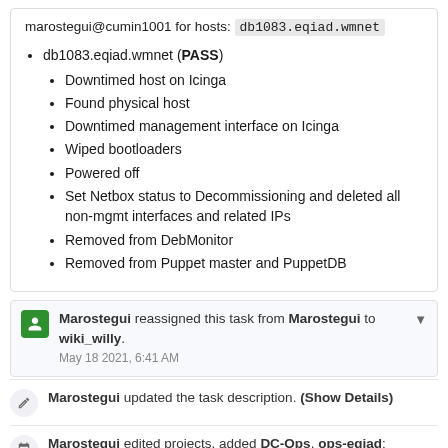marostegui@cumin1001 for hosts: db1083.eqiad.wmnet
db1083.eqiad.wmnet (PASS)
Downtimed host on Icinga
Found physical host
Downtimed management interface on Icinga
Wiped bootloaders
Powered off
Set Netbox status to Decommissioning and deleted all non-mgmt interfaces and related IPs
Removed from DebMonitor
Removed from Puppet master and PuppetDB
Marostegui reassigned this task from Marostegui to wiki_willy. May 18 2021, 6:41 AM
Marostegui updated the task description. (Show Details)
Marostegui edited projects, added DC-Ops, ops-eqiad; removed Patch-For-Review.